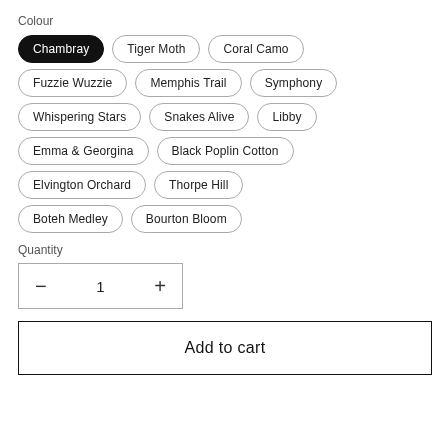Colour
Chambray (selected)
Tiger Moth
Coral Camo
Fuzzie Wuzzie
Memphis Trail
Symphony
Whispering Stars
Snakes Alive
Libby
Emma & Georgina
Black Poplin Cotton
Elvington Orchard
Thorpe Hill
Boteh Medley
Bourton Bloom
Quantity
- 1 +
Add to cart